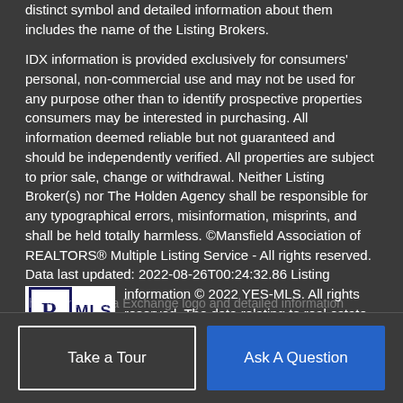distinct symbol and detailed information about them includes the name of the Listing Brokers.
IDX information is provided exclusively for consumers' personal, non-commercial use and may not be used for any purpose other than to identify prospective properties consumers may be interested in purchasing. All information deemed reliable but not guaranteed and should be independently verified. All properties are subject to prior sale, change or withdrawal. Neither Listing Broker(s) nor The Holden Agency shall be responsible for any typographical errors, misinformation, misprints, and shall be held totally harmless. ©Mansfield Association of REALTORS® Multiple Listing Service - All rights reserved. Data last updated: 2022-08-26T00:24:32.86 Listing information © 2022 YES-MLS. All rights reserved. The data relating to real estate for sale on this website comes in part from the Internet Data Exchange program of YES-MLS. Real estate listings held by brokerage firms other than The Holden Agency are marked with the Internet Data Exchange logo and detailed information about them
the Internet Data Exchange logo and detailed information about them includes the name of the listing broker(s).
Take a Tour
Ask A Question